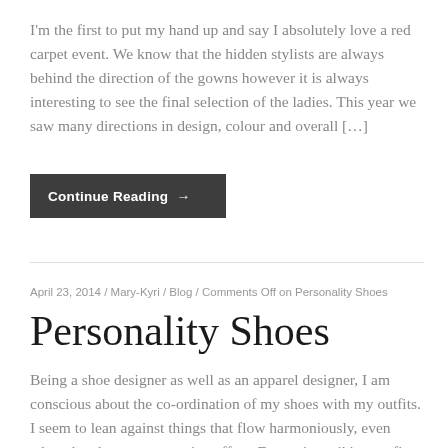I'm the first to put my hand up and say I absolutely love a red carpet event. We know that the hidden stylists are always behind the direction of the gowns however it is always interesting to see the final selection of the ladies. This year we saw many directions in design, colour and overall […]
Continue Reading →
April 23, 2014 / Mary-Kyri / Blog / Comments Off on Personality Shoes
Personality Shoes
Being a shoe designer as well as an apparel designer, I am conscious about the co-ordination of my shoes with my outfits. I seem to lean against things that flow harmoniously, even when they have a contrasting effect. Dynamic, striking outfits